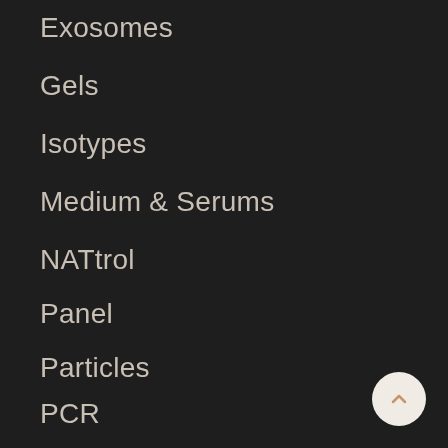Exosomes
Gels
Isotypes
Medium & Serums
NATtrol
Panel
Particles
PCR
Pcr Kits
Peptides